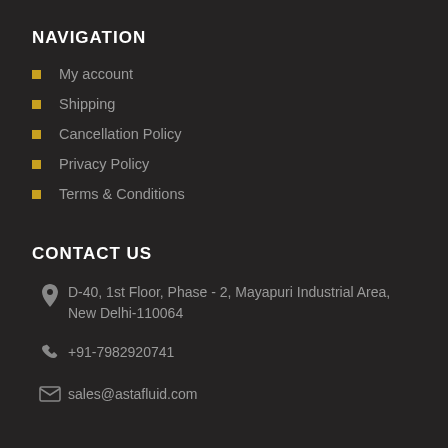NAVIGATION
My account
Shipping
Cancellation Policy
Privacy Policy
Terms & Conditions
CONTACT US
D-40, 1st Floor, Phase - 2, Mayapuri Industrial Area, New Delhi-110064
+91-7982920741
sales@astafluid.com